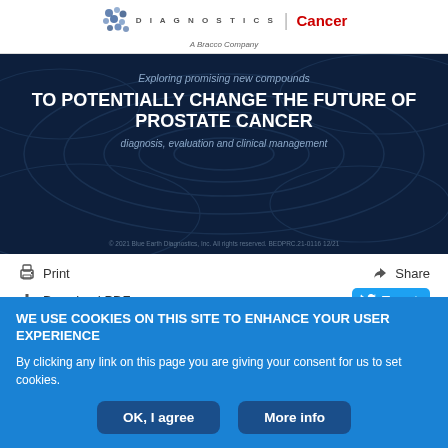[Figure (logo): Blue Earth Diagnostics | Cancer — A Bracco Company logo with decorative dots icon]
[Figure (illustration): Dark navy banner: 'Exploring promising new compounds TO POTENTIALLY CHANGE THE FUTURE OF PROSTATE CANCER diagnosis, evaluation and clinical management' with topographic line background. Copyright 2021 Blue Earth Diagnostics, Inc. All rights reserved. BEDPRC.21-0116 12/21]
Print
Share
Download PDF
Tweet
WE USE COOKIES ON THIS SITE TO ENHANCE YOUR USER EXPERIENCE
By clicking any link on this page you are giving your consent for us to set cookies.
OK, I agree
More info